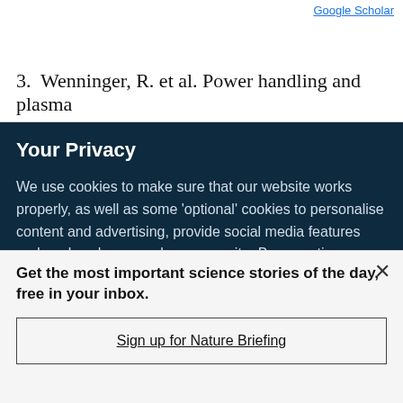Google Scholar
3. Wenninger, R. et al. Power handling and plasma
Your Privacy
We use cookies to make sure that our website works properly, as well as some 'optional' cookies to personalise content and advertising, provide social media features and analyse how people use our site. By accepting some or all optional cookies you give consent to the processing of your personal data, including transfer to third parties, some in countries outside of the European Economic Area that do not offer the same data protection standards as the country where you live. You can decide which optional cookies to accept by clicking on 'Manage Settings', where you can
Get the most important science stories of the day, free in your inbox.
Sign up for Nature Briefing